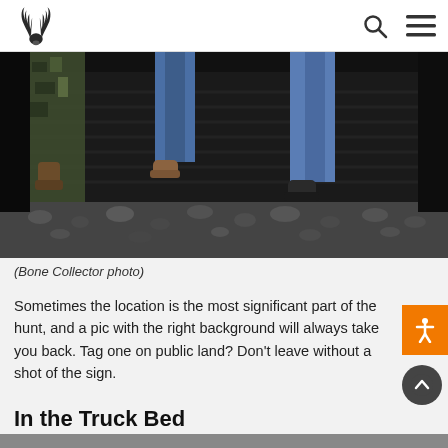Realtree logo, search icon, menu icon
[Figure (photo): Close-up photo of people's legs and feet standing in a truck bed at night. One person wears camouflage pants and boots, another wears jeans with brown shoes, and a third wears jeans with dark sneakers. The truck bed has a black mat liner with gravel/rocks visible below.]
(Bone Collector photo)
Sometimes the location is the most significant part of the hunt, and a pic with the right background will always take you back. Tag one on public land? Don't leave without a shot of the sign.
In the Truck Bed